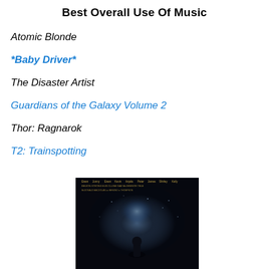Best Overall Use Of Music
Atomic Blonde
*Baby Driver*
The Disaster Artist
Guardians of the Galaxy Volume 2
Thor: Ragnarok
T2: Trainspotting
[Figure (photo): Movie poster for T2: Trainspotting showing cast names at top and a dark atmospheric scene with a figure illuminated from behind]